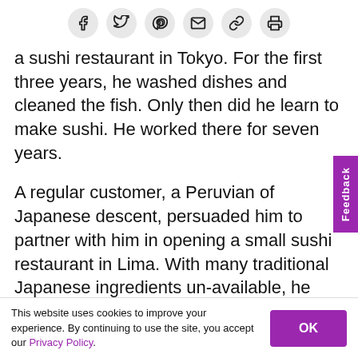[Social share icons: Facebook, Twitter, Pinterest, Email, Link, Print]
a sushi restaurant in Tokyo. For the first three years, he washed dishes and cleaned the fish. Only then did he learn to make sushi. He worked there for seven years.
A regular customer, a Peruvian of Japanese descent, persuaded him to partner with him in opening a small sushi restaurant in Lima. With many traditional Japanese ingredients un-available, he had to learn to fuse Peruvian flavors into his food—a twist on traditional Japanese cuisine that has been a hallmark ever since.
This website uses cookies to improve your experience. By continuing to use the site, you accept our Privacy Policy.